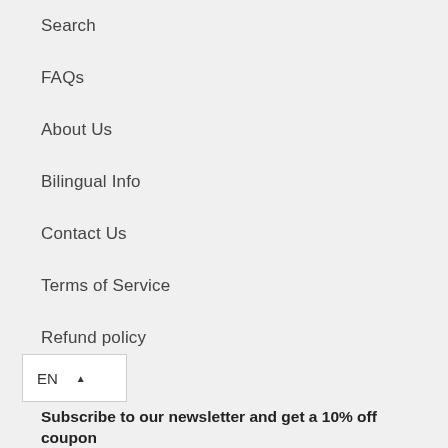Search
FAQs
About Us
Bilingual Info
Contact Us
Terms of Service
Refund policy
EN ▲
Subscribe to our newsletter and get a 10% off coupon